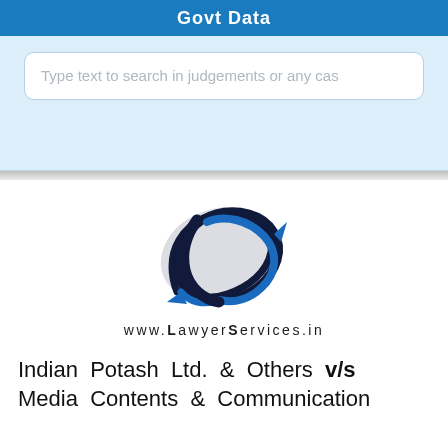Govt Data
Type text to search in judgements or any cas
[Figure (logo): LawyerServices.in logo — stylized LS letters in dark navy and blue with arrow, above website URL www.LawyerServices.in]
Indian Potash Ltd. & Others v/s Media Contents & Communication